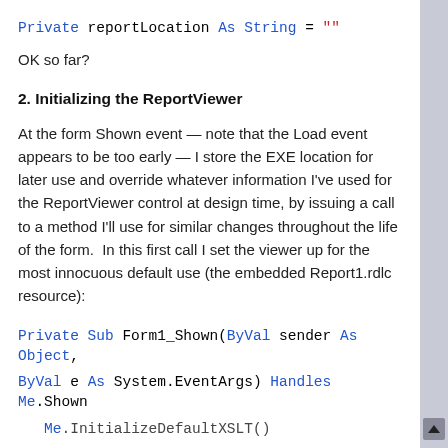Private reportLocation As String = ""
OK so far?
2. Initializing the ReportViewer
At the form Shown event — note that the Load event appears to be too early — I store the EXE location for later use and override whatever information I've used for the ReportViewer control at design time, by issuing a call to a method I'll use for similar changes throughout the life of the form.  In this first call I set the viewer up for the most innocuous default use (the embedded Report1.rdlc resource):
Private Sub Form1_Shown(ByVal sender As Object, ByVal e As System.EventArgs) Handles Me.Shown
   Me.InitializeDefaultXSLT()